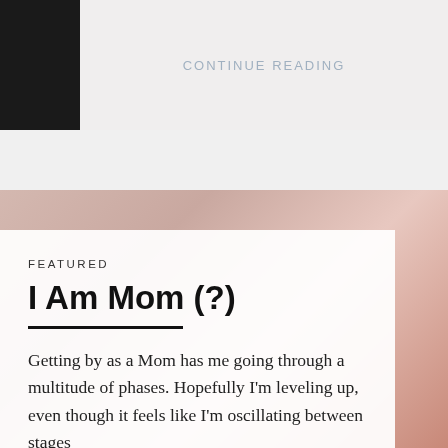CONTINUE READING
[Figure (photo): Blog page screenshot showing a featured article card with a blurred background photo of what appears to be a hand/baby fingers. The top portion shows a partial blog post with a black thumbnail image and 'CONTINUE READING' link text.]
FEATURED
I Am Mom (?)
Getting by as a Mom has me going through a multitude of phases. Hopefully I'm leveling up, even though it feels like I'm oscillating between stages